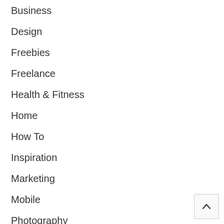Business
Design
Freebies
Freelance
Health & Fitness
Home
How To
Inspiration
Marketing
Mobile
Photography
Resources